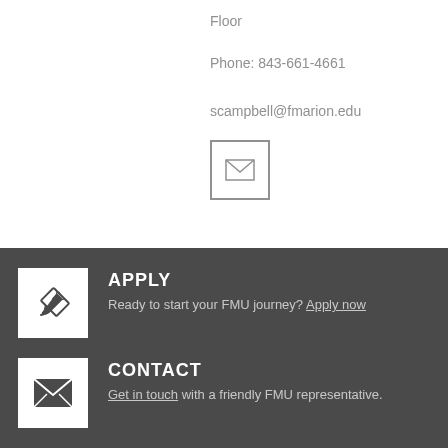Floor
Phone: 843-661-4661
scampbell@fmarion.edu
[Figure (illustration): Email envelope icon inside a square border]
[Figure (illustration): Pencil/edit icon on white square background]
APPLY
Ready to start your FMU journey? Apply now
[Figure (illustration): Envelope icon on white square background]
CONTACT
Get in touch with a friendly FMU representative.